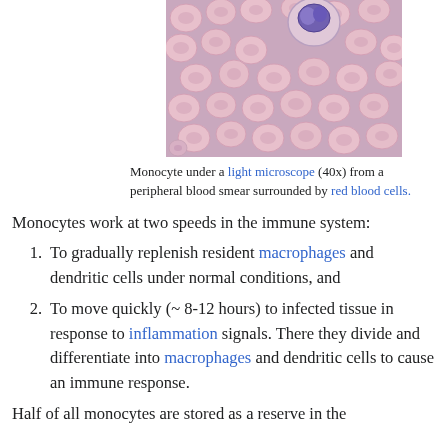[Figure (photo): Microscope image of a monocyte surrounded by red blood cells at 40x magnification from a peripheral blood smear]
Monocyte under a light microscope (40x) from a peripheral blood smear surrounded by red blood cells.
Monocytes work at two speeds in the immune system:
To gradually replenish resident macrophages and dendritic cells under normal conditions, and
To move quickly (~ 8-12 hours) to infected tissue in response to inflammation signals. There they divide and differentiate into macrophages and dendritic cells to cause an immune response.
Half of all monocytes are stored as a reserve in the